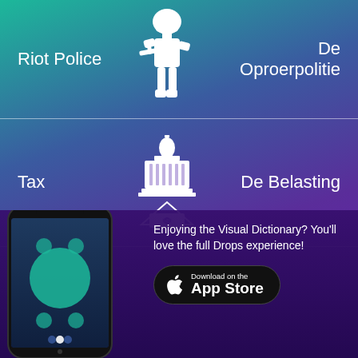[Figure (infographic): Vocabulary flashcard: Riot Police / De Oproerpolitie with white riot police officer icon in center, teal-to-purple gradient background]
[Figure (infographic): Vocabulary flashcard: Tax / De Belasting with white government building with dollar bill icon in center, gradient background]
[Figure (infographic): Vocabulary flashcard partially visible with hand/voting icon, third entry cut off at bottom]
[Figure (screenshot): Drops app advertisement banner with phone screenshot, text 'Enjoying the Visual Dictionary? You'll love the full Drops experience!' and Download on the App Store button]